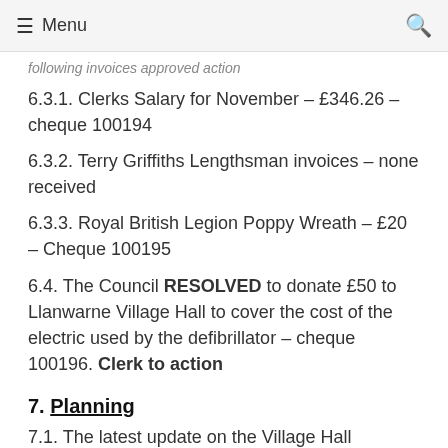≡ Menu  🔍
Following invoices approved action
6.3.1. Clerks Salary for November – £346.26 – cheque 100194
6.3.2. Terry Griffiths Lengthsman invoices – none received
6.3.3. Royal British Legion Poppy Wreath – £20 – Cheque 100195
6.4. The Council RESOLVED to donate £50 to Llanwarne Village Hall to cover the cost of the electric used by the defibrillator – cheque 100196. Clerk to action
7. Planning
7.1. The latest update on the Village Hall